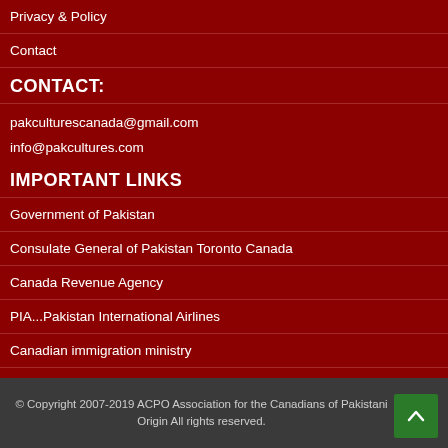Privacy & Policy
Contact
CONTACT:
pakculturescanada@gmail.com
info@pakcultures.com
IMPORTANT LINKS
Government of Pakistan
Consulate General of Pakistan Toronto Canada
Canada Revenue Agency
PIA...Pakistan International Airlines
Canadian immigration ministry
© Copyright 2007-2019 ACPO Association for the Canadians of Pakistani Origin All rights reserved.